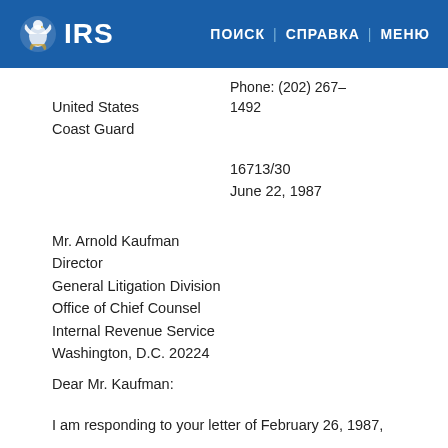IRS | ПОИСК | СПРАВКА | МЕНЮ
Phone: (202) 267–1492
United States
Coast Guard
16713/30
June 22, 1987
Mr. Arnold Kaufman
Director
General Litigation Division
Office of Chief Counsel
Internal Revenue Service
Washington, D.C. 20224
Dear Mr. Kaufman:
I am responding to your letter of February 26, 1987,